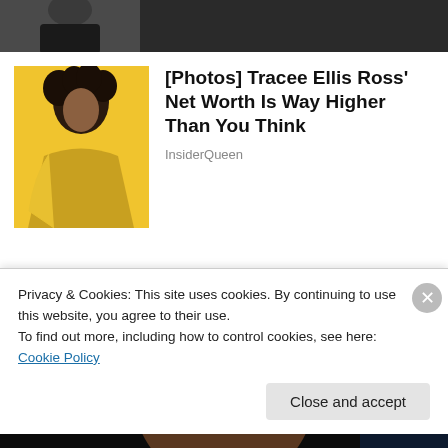[Figure (photo): Partial view of a person in a dark suit, cropped at the top of the page]
[Figure (photo): Thumbnail photo of Tracee Ellis Ross wearing a yellow outfit against a yellow background, with natural curly hair]
[Photos] Tracee Ellis Ross' Net Worth Is Way Higher Than You Think
InsiderQueen
[Figure (photo): Close-up photo of a Black man's face against a dark background, eyes looking upward]
Privacy & Cookies: This site uses cookies. By continuing to use this website, you agree to their use.
To find out more, including how to control cookies, see here: Cookie Policy
Close and accept